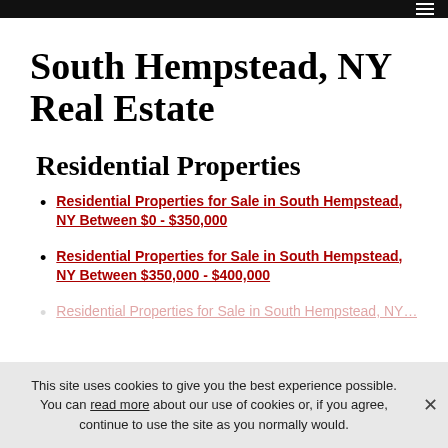Navigation menu bar
South Hempstead, NY Real Estate
Residential Properties
Residential Properties for Sale in South Hempstead, NY Between $0 - $350,000
Residential Properties for Sale in South Hempstead, NY Between $350,000 - $400,000
This site uses cookies to give you the best experience possible. You can read more about our use of cookies or, if you agree, continue to use the site as you normally would.